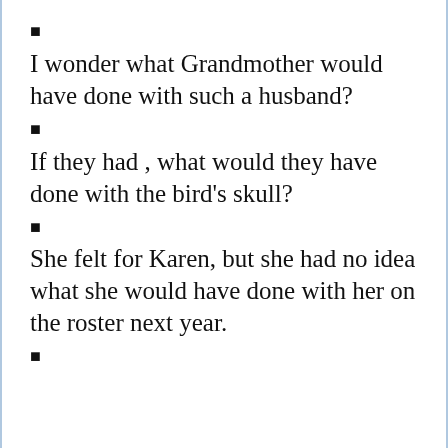■
I wonder what Grandmother would have done with such a husband?
■
If they had , what would they have done with the bird's skull?
■
She felt for Karen, but she had no idea what she would have done with her on the roster next year.
■